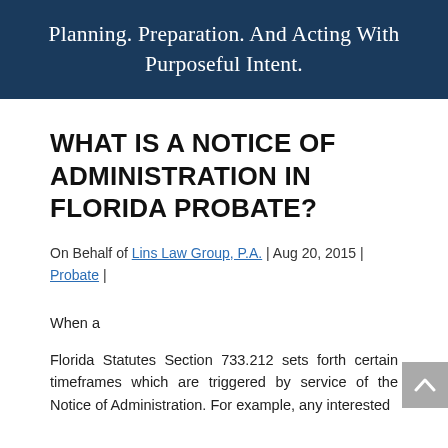Planning. Preparation. And Acting With Purposeful Intent.
WHAT IS A NOTICE OF ADMINISTRATION IN FLORIDA PROBATE?
On Behalf of Lins Law Group, P.A. | Aug 20, 2015 | Probate |
When a
Florida Statutes Section 733.212 sets forth certain timeframes which are triggered by service of the Notice of Administration. For example, any interested